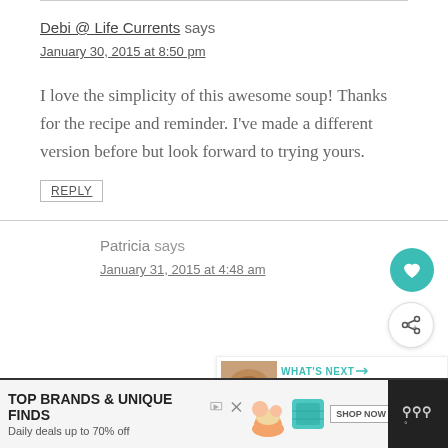Debi @ Life Currents says
January 30, 2015 at 8:50 pm
I love the simplicity of this awesome soup! Thanks for the recipe and reminder. I've made a different version before but look forward to trying yours.
REPLY
Patricia says
January 31, 2015 at 4:48 am
[Figure (screenshot): Advertisement banner: TOP BRANDS & UNIQUE FINDS, Daily deals up to 70% off, zulily, with shoe and bag images and SHOP NOW button]
[Figure (infographic): WHAT'S NEXT panel showing Lentil Soup with Veggies...]